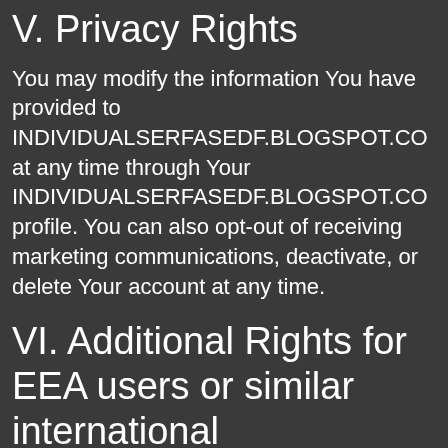V. Privacy Rights
You may modify the information You have provided to INDIVIDUALSERFASEDF.BLOGSPOT.CO at any time through Your INDIVIDUALSERFASEDF.BLOGSPOT.CO profile. You can also opt-out of receiving marketing communications, deactivate, or delete Your account at any time.
VI. Additional Rights for EEA users or similar international